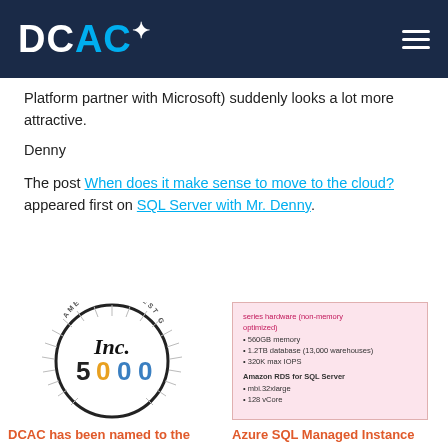DCAC
Platform partner with Microsoft) suddenly looks a lot more attractive.
Denny
The post When does it make sense to move to the cloud? appeared first on SQL Server with Mr. Denny.
[Figure (logo): Inc. 5000 badge — circular badge with rays, text 'Inc. 5000' in black, gold and blue numerals]
DCAC has been named to the INC 5000 list for the 4th time in a row
[Figure (screenshot): Pink background screenshot listing hardware specs: series hardware (non-memory optimized), 560GB memory, 1.2TB database (13,000 warehouses), 320K max IOPS, Amazon RDS for SQL Server, mbi.32xlarge, 128 vCore]
Azure SQL Managed Instance versus Amazon RDS for SQL Server—